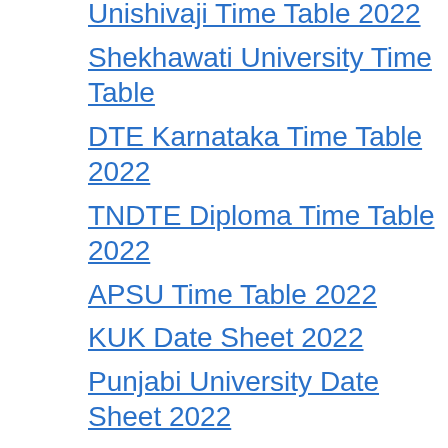Unishivaji Time Table 2022
Shekhawati University Time Table
DTE Karnataka Time Table 2022
TNDTE Diploma Time Table 2022
APSU Time Table 2022
KUK Date Sheet 2022
Punjabi University Date Sheet 2022
Patna University Exam Date 2022
BNMU Exam Date 2022
BAMU Time Table 2022
RTMNU Time Table 2022
MSBTE Time Table 2022
RMLAU Exam Scheme 2022
UPRTOU Time Table 2022